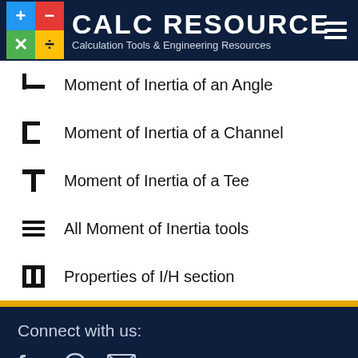CALC RESOURCE - Calculation Tools & Engineering Resources
Moment of Inertia of an Angle
Moment of Inertia of a Channel
Moment of Inertia of a Tee
All Moment of Inertia tools
Properties of I/H section
Connect with us: About